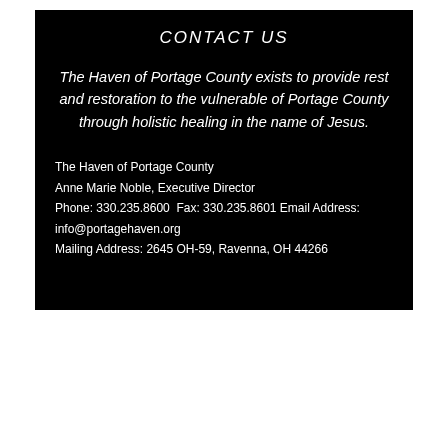CONTACT US
The Haven of Portage County exists to provide rest and restoration to the vulnerable of Portage County through holistic healing in the name of Jesus.
The Haven of Portage County
Anne Marie Noble, Executive Director
Phone: 330.235.8600  Fax: 330.235.8601 Email Address: info@portagehaven.org
Mailing Address: 2645 OH-59, Ravenna, OH 44266